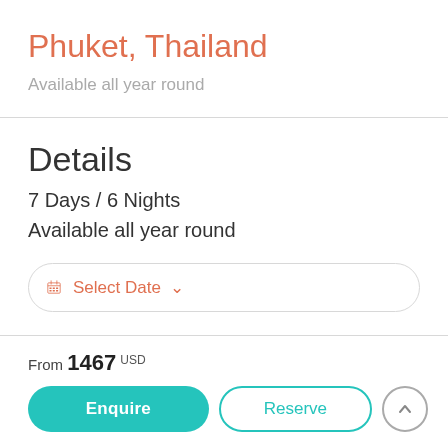Phuket, Thailand
Available all year round
Details
7 Days / 6 Nights
Available all year round
Select Date
From 1467 USD
Enquire
Reserve